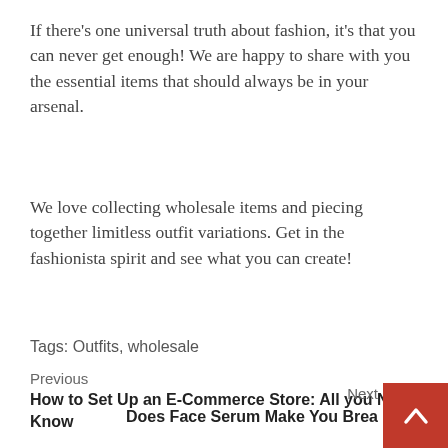If there's one universal truth about fashion, it's that you can never get enough! We are happy to share with you the essential items that should always be in your arsenal.
We love collecting wholesale items and piecing together limitless outfit variations. Get in the fashionista spirit and see what you can create!
Tags: Outfits, wholesale
Previous
How to Set Up an E-Commerce Store: All you Need to Know
Next
Does Face Serum Make You Brea